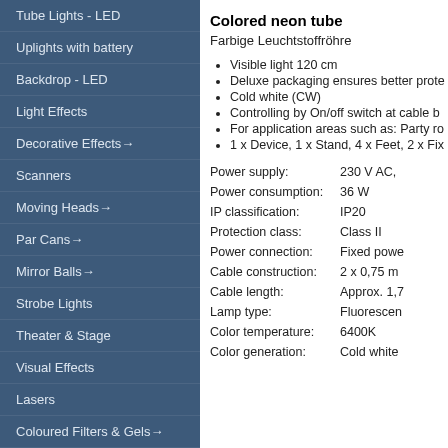Tube Lights - LED
Uplights with battery
Backdrop - LED
Light Effects
Decorative Effects→
Scanners
Moving Heads→
Par Cans→
Mirror Balls→
Strobe Lights
Theater & Stage
Visual Effects
Lasers
Coloured Filters & Gels→
Lamps→
Belt Light→
Message Displays
Black Light
Colored neon tube
Farbige Leuchtstoffröhre
Visible light 120 cm
Deluxe packaging ensures better prote…
Cold white (CW)
Controlling by On/off switch at cable b…
For application areas such as: Party ro…
1 x Device, 1 x Stand, 4 x Feet, 2 x Fix…
| Specification | Value |
| --- | --- |
| Power supply: | 230 V AC, |
| Power consumption: | 36 W |
| IP classification: | IP20 |
| Protection class: | Class II |
| Power connection: | Fixed powe… |
| Cable construction: | 2 x 0,75 m… |
| Cable length: | Approx. 1,7… |
| Lamp type: | Fluoresce… |
| Color temperature: | 6400K |
| Color generation: | Cold white |